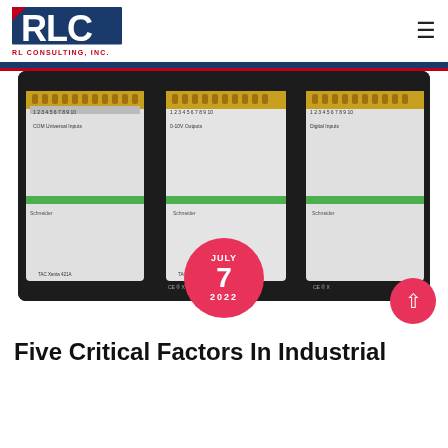RLC — RL CONSULTING, INC.
[Figure (photo): Schneider Electric TAC Xenta industrial control modules/PLCs mounted on a DIN rail, showing Universal Inputs, 0-10V Outputs, and Digital Inputs labels on white rectangular modules with green stripe branding and gold screw terminals on top.]
JULY 7 2022
Five Critical Factors In Industrial